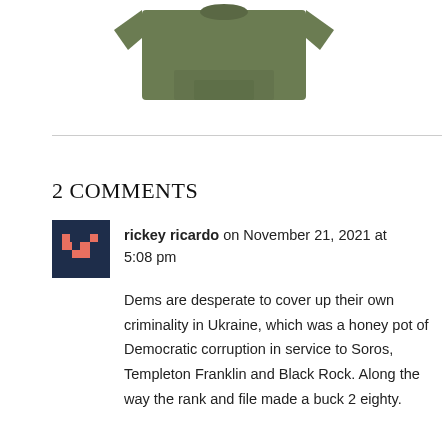[Figure (photo): Olive green t-shirt product photo, partially visible at top of page]
2 COMMENTS
rickey ricardo on November 21, 2021 at 5:08 pm
Dems are desperate to cover up their own criminality in Ukraine, which was a honey pot of Democratic corruption in service to Soros, Templeton Franklin and Black Rock. Along the way the rank and file made a buck 2 eighty.